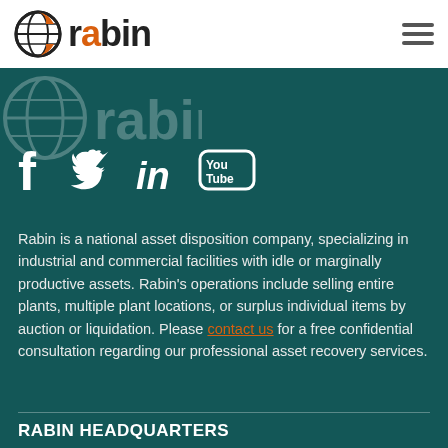[Figure (logo): Rabin company logo with globe icon and text 'rabin' with orange dot over 'i']
[Figure (illustration): Ghost/watermark version of the Rabin globe logo in the dark teal header background]
[Figure (infographic): Social media icons: Facebook, Twitter, LinkedIn, YouTube on dark teal background]
Rabin is a national asset disposition company, specializing in industrial and commercial facilities with idle or marginally productive assets. Rabin's operations include selling entire plants, multiple plant locations, or surplus individual items by auction or liquidation. Please contact us for a free confidential consultation regarding our professional asset recovery services.
RABIN HEADQUARTERS
21 Locust Avenue, Suite 2A